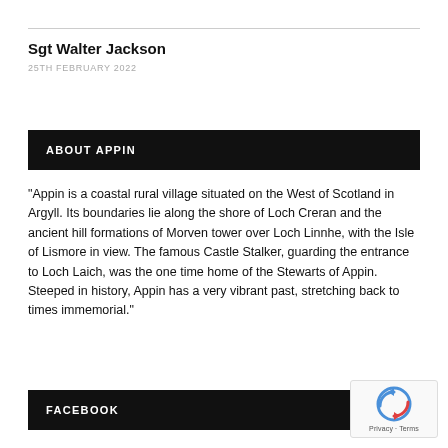Sgt Walter Jackson
25TH FEBRUARY 2022
ABOUT APPIN
"Appin is a coastal rural village situated on the West of Scotland in Argyll. Its boundaries lie along the shore of Loch Creran and the ancient hill formations of Morven tower over Loch Linnhe, with the Isle of Lismore in view. The famous Castle Stalker, guarding the entrance to Loch Laich, was the one time home of the Stewarts of Appin. Steeped in history, Appin has a very vibrant past, stretching back to times immemorial."
FACEBOOK